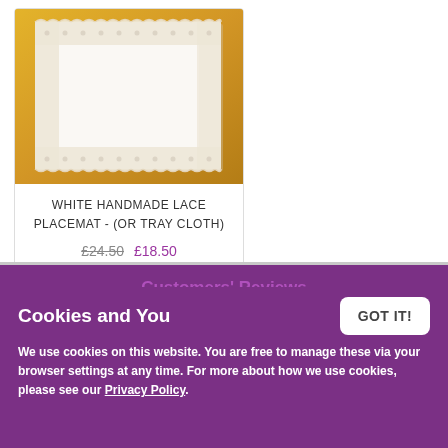[Figure (photo): White handmade lace placemat on an orange/golden surface, photographed from above. The placemat has an intricate lace border around a white fabric center.]
WHITE HANDMADE LACE PLACEMAT - (OR TRAY CLOTH)
£24.50  £18.50
Customers' Reviews
Made to perfection x such good quality x definitely order again x - Joie Brene (White and Lace Baby Burp Cloths)
Cookies and You
We use cookies on this website. You are free to manage these via your browser settings at any time. For more about how we use cookies, please see our Privacy Policy.